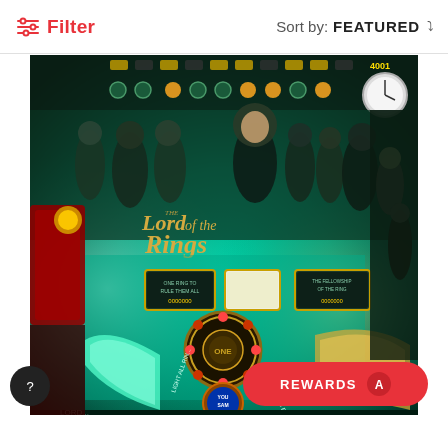Filter    Sort by: FEATURED
[Figure (photo): Lord of the Rings pinball machine playfield, glowing teal/green with character artwork and game elements visible]
REWARDS
?